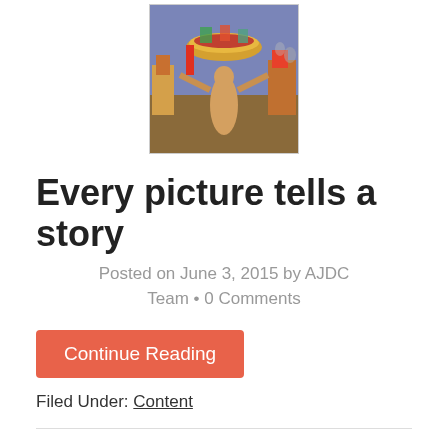[Figure (illustration): Painting showing a golden figure holding a large bowl aloft, surrounded by industrial and architectural imagery in warm oranges, reds, blues and greens.]
Every picture tells a story
Posted on June 3, 2015 by AJDC Team • 0 Comments
Continue Reading
Filed Under: Content
[Figure (illustration): Partial view of another painting visible at the bottom of the page.]